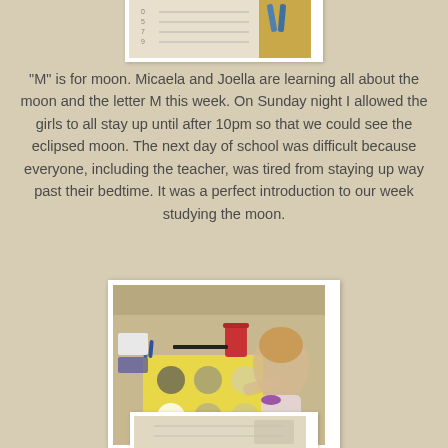[Figure (photo): Top photo showing papers/worksheet and scissors on a table, partially cropped]
"M" is for moon. Micaela and Joella are learning all about the moon and the letter M this week. On Sunday night I allowed the girls to all stay up until after 10pm so that we could see the eclipsed moon. The next day of school was difficult because everyone, including the teacher, was tired from staying up way past their bedtime. It was a perfect introduction to our week studying the moon.
[Figure (photo): A young girl sitting at a table working on a moon phases activity with a yellow worksheet showing moon phase circles, a red cup nearby]
[Figure (photo): Bottom photo partially visible, appears to show a worksheet or papers on a table]